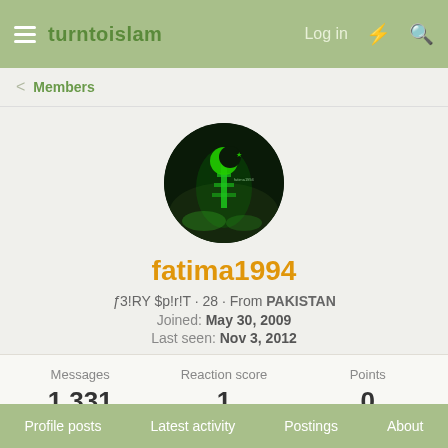turntoislam | Log in
Members
[Figure (photo): Circular profile avatar showing a green glowing Pakistani crescent moon and minaret against a dark night background]
fatima1994
ƒ3!RY $p!r!T · 28 · From PAKISTAN
Joined: May 30, 2009
Last seen: Nov 3, 2012
| Messages | Reaction score | Points |
| --- | --- | --- |
| 1,331 | 1 | 0 |
Find ▾
Profile posts  Latest activity  Postings  About